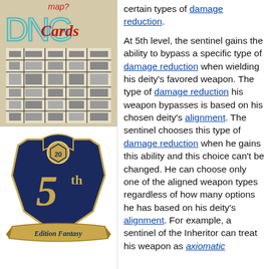[Figure (illustration): DNG Cards product image with 'map?' text and 'Cards' in red cursive script over a fantasy map illustration]
[Figure (logo): 5th Edition Fantasy logo badge with dark blue shield, gold d20 die, large gold '5th' text, and scroll reading 'Edition Fantasy']
certain types of damage reduction.
At 5th level, the sentinel gains the ability to bypass a specific type of damage reduction when wielding his deity's favored weapon. The type of damage reduction his weapon bypasses is based on his chosen deity's alignment. The sentinel chooses this type of damage reduction when he gains this ability and this choice can't be changed. He can choose only one of the aligned weapon types regardless of how many options he has based on his deity's alignment. For example, a sentinel of the Inheritor can treat his weapon as axiomatic